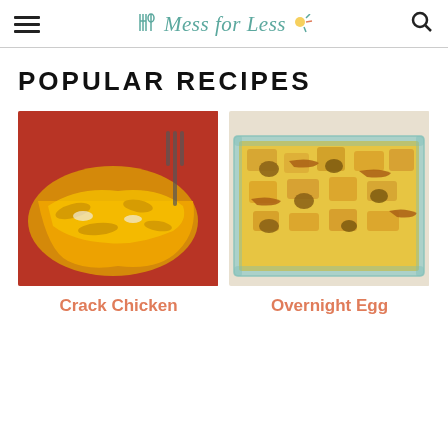Mess for Less
POPULAR RECIPES
[Figure (photo): A serving of Crack Chicken casserole with melted cheddar cheese and bacon pieces on a red plate with a fork in the background]
[Figure (photo): An Overnight Egg casserole baked in a glass dish with melted cheese, sausage, and bacon pieces on top]
Crack Chicken
Overnight Egg